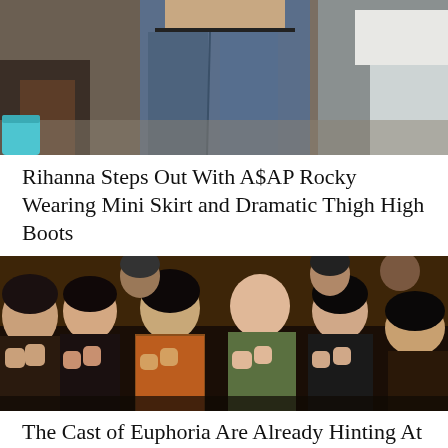[Figure (photo): Cropped photo showing lower body of a person in jeans, with other people partially visible on sides, outdoor setting]
Rihanna Steps Out With A$AP Rocky Wearing Mini Skirt and Dramatic Thigh High Boots
[Figure (photo): Audience of young people seated and clapping/reacting excitedly, dark background, indoor event setting]
The Cast of Euphoria Are Already Hinting At Their